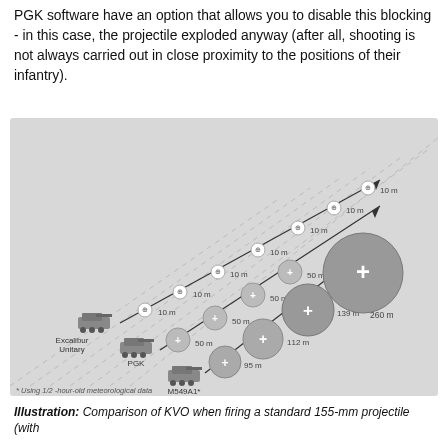PGK software have an option that allows you to disable this blocking - in this case, the projectile exploded anyway (after all, shooting is not always carried out in close proximity to the positions of their infantry).
[Figure (infographic): Diagram comparing circular error probable (KVO/CEP) for three artillery systems (Excalibur Unitary, PGK, M549A1*) at various distances (10km to 40km). Each system fires along a diagonal line with circle markers showing accuracy radius at each range: Excalibur Unitary: 10m circles at all ranges shown; PGK: 50m at close range, 50m, 50m, 50m at mid ranges; M549A1*: 95m, 112m, 139m, 260m circles at increasing ranges. Footnote: * Using 1/2-hour-old meteorological data.]
Illustration: Comparison of KVO when firing a standard 155-mm projectile (with